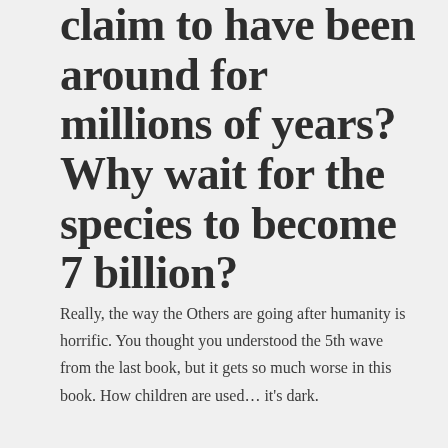claim to have been around for millions of years? Why wait for the species to become 7 billion?
Really, the way the Others are going after humanity is horrific. You thought you understood the 5th wave from the last book, but it gets so much worse in this book. How children are used... it's dark.